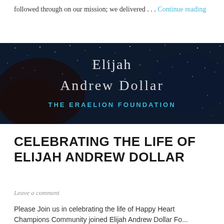followed through on our mission; we delivered . . . Continue reading
[Figure (illustration): Dark starry night sky / galaxy background banner image with text overlay reading 'Elijah Andrew Dollar THE ERAELION FOUNDATION' in cursive/styled fonts]
CELEBRATING THE LIFE OF ELIJAH ANDREW DOLLAR
Leave a comment
Please Join us in celebrating the life of Happy Heart Champions Community joined Elijah Andrew Dollar Fo...